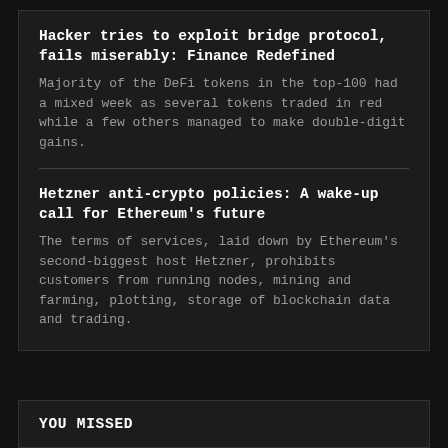Hacker tries to exploit bridge protocol, fails miserably: Finance Redefined
Majority of the DeFi tokens in the top-100 had a mixed week as several tokens traded in red while a few others managed to make double-digit gains.
Hetzner anti-crypto policies: A wake-up call for Ethereum's future
The terms of services, laid down by Ethereum's second-biggest host Hetzner, prohibits customers from running nodes, mining and farming, plotting, storage of blockchain data and trading.
YOU MISSED